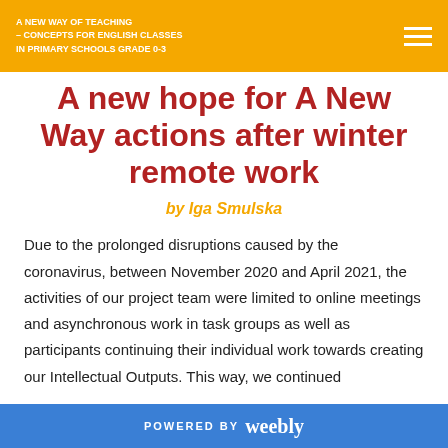A NEW WAY OF TEACHING – CONCEPTS FOR ENGLISH CLASSES IN PRIMARY SCHOOLS GRADE 0-3
A new hope for A New Way actions after winter remote work
by Iga Smulska
Due to the prolonged disruptions caused by the coronavirus, between November 2020 and April 2021, the activities of our project team were limited to online meetings and asynchronous work in task groups as well as participants continuing their individual work towards creating our Intellectual Outputs. This way, we continued
POWERED BY weebly